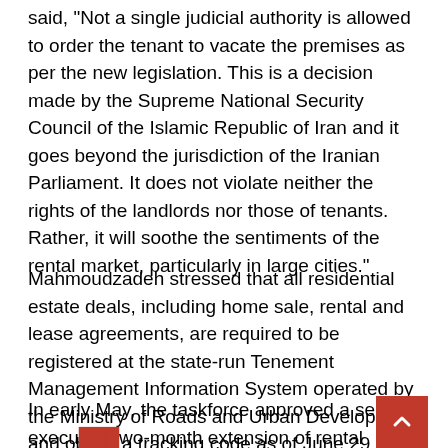said, "Not a single judicial authority is allowed to order the tenant to vacate the premises as per the new legislation. This is a decision made by the Supreme National Security Council of the Islamic Republic of Iran and it goes beyond the jurisdiction of the Iranian Parliament. It does not violate neither the rights of the landlords nor those of tenants. Rather, it will soothe the sentiments of the rental market, particularly in large cities."
Mahmoudzadeh stressed that all residential estate deals, including home sale, rental and lease agreements, are required to be registered at the state-run Tenement Management Information System operated by the Ministry of Roads and Urban Development and obtain a tracking code as of June 29, IRNA reported.
In early May, the taskforce approved a self-executing two-month extension of rental agreements with the te...tion